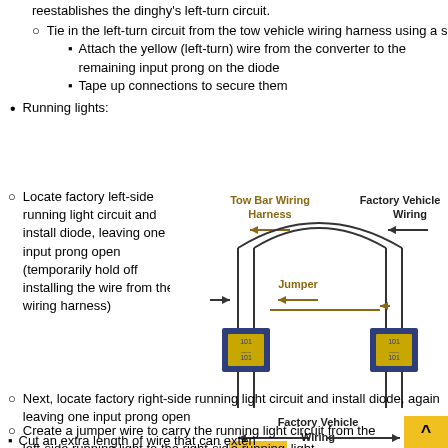reestablishes the dinghy's left-turn circuit.
Tie in the left-turn circuit from the tow vehicle wiring harness using a spade connector
Attach the yellow (left-turn) wire from the converter to the remaining input prong on the diode
Tape up connections to secure them
Running lights:
Locate factory left-side running light circuit and install diode, leaving one input prong open (temporarily hold off installing the wire from the wiring harness)
[Figure (schematic): Wiring diagram showing Tow Bar Wiring Harness, Factory Vehicle Wiring, Jumper, and two diode components connected by wires with directional arrows]
Next, locate factory right-side running light circuit and install diode, again leaving one input prong open
Create a jumper wire to carry the running light circuit from the left-side running light to the right-side running light
Cut an extra length of wire that can exten...